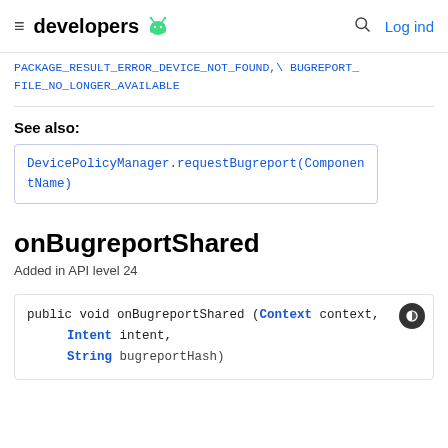developers [android logo] [search] Log ind
PACKAGE_RESULT_ERROR_DEVICE_NOT_FOUND_FILE_NO_LONGER_AVAILABLE
See also:
DevicePolicyManager.requestBugreport(ComponentName)
onBugreportShared
Added in API level 24
public void onBugreportShared (Context context, Intent intent,